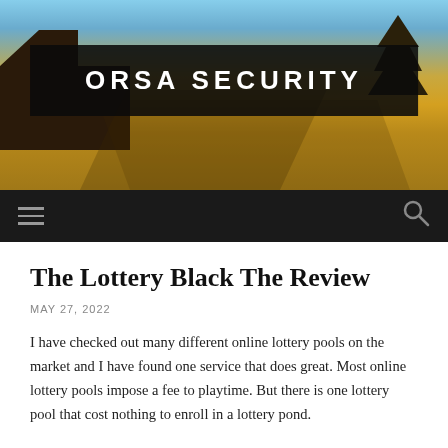[Figure (photo): Header image of a rural farm scene with a dark barn silhouette on the left, golden sunlit field in the center, and bare winter trees on the right. A dark banner overlay in the center reads 'ORSA SECURITY' in bold white capital letters.]
ORSA SECURITY
The Lottery Black The Review
MAY 27, 2022
I have checked out many different online lottery pools on the market and I have found one service that does great. Most online lottery pools impose a fee to playtime. But there is one lottery pool that cost nothing to enroll in a lottery pond.